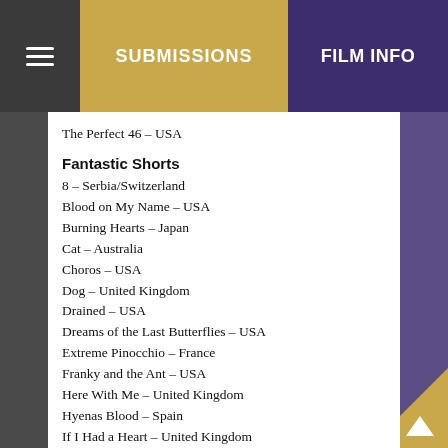SUBMISSIONS | FILM INFO
The Perfect 46 – USA
Fantastic Shorts
8 – Serbia/Switzerland
Blood on My Name – USA
Burning Hearts – Japan
Cat – Australia
Choros – USA
Dog – United Kingdom
Drained – USA
Dreams of the Last Butterflies – USA
Extreme Pinocchio – France
Franky and the Ant – USA
Here With Me – United Kingdom
Hyenas Blood – Spain
If I Had a Heart – United Kingdom
Indigo – Sweden
John Henry and the Railroad – USA